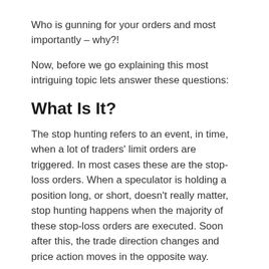Who is gunning for your orders and most importantly – why?!
Now, before we go explaining this most intriguing topic lets answer these questions:
What Is It?
The stop hunting refers to an event, in time, when a lot of traders' limit orders are triggered. In most cases these are the stop-loss orders. When a speculator is holding a position long, or short, doesn't really matter, stop hunting happens when the majority of these stop-loss orders are executed. Soon after this, the trade direction changes and price action moves in the opposite way.